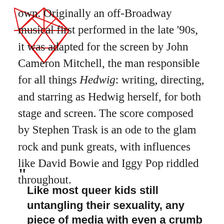[Figure (logo): Red wireframe diamond/gem logo outline in top-left area]
own. Originally an off-Broadway musical first performed in the late '90s, it was adapted for the screen by John Cameron Mitchell, the man responsible for all things Hedwig: writing, directing, and starring as Hedwig herself, for both stage and screen. The score composed by Stephen Trask is an ode to the glam rock and punk greats, with influences like David Bowie and Iggy Pop riddled throughout.
“ Like most queer kids still untangling their sexuality, any piece of media with even a crumb of LGBTQ+ content had the potential